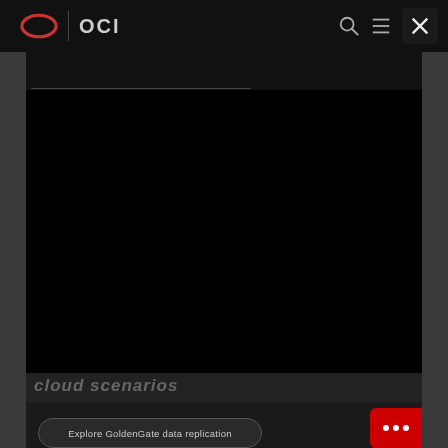OCI
[Figure (screenshot): Oracle OCI navigation bar with Oracle logo (red oval), OCI text, search icon, hamburger menu icon, and X close button on dark background]
[Figure (screenshot): Large black video/media area embedded in dark page]
cloud scenarios
[Figure (screenshot): Explore GoldenGate data replication button with rounded border and red chat widget button at bottom right]